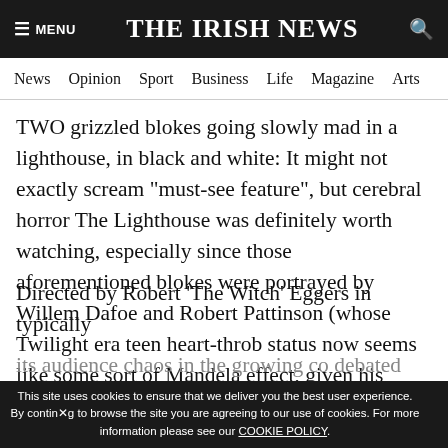≡ MENU  THE IRISH NEWS  🔍
News  Opinion  Sport  Business  Life  Magazine  Arts
TWO grizzled blokes going slowly mad in a lighthouse, in black and white: It might not exactly scream "must-see feature", but cerebral horror The Lighthouse was definitely worth watching, especially since those aforementioned blokes were portrayed by Willem Dafoe and Robert Pattinson (whose Twilight era teen heart-throb status now seems like some sort of Mandela effect, given his pointedly offbeat post-franchise career).
Directed by Robert 'The Witch' Eggers in typically
This site uses cookies to ensure that we deliver you the best user experience. By continuing to browse the site you are agreeing to our use of cookies. For more information please see our COOKIE POLICY.